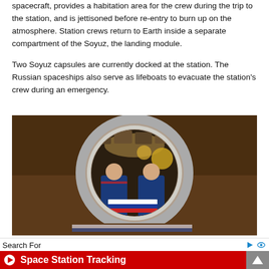spacecraft, provides a habitation area for the crew during the trip to the station, and is jettisoned before re-entry to burn up on the atmosphere. Station crews return to Earth inside a separate compartment of the Soyuz, the landing module.
Two Soyuz capsules are currently docked at the station. The Russian spaceships also serve as lifeboats to evacuate the station's crew during an emergency.
[Figure (photo): Two cosmonauts in blue flight suits standing inside a circular hatch/airlock of the ISS holding a Russian flag. The interior of the Soyuz capsule is visible through the circular hatch, with equipment and golden spherical tanks visible in the background.]
Search For
Space Station Tracking
Space Telescope Live